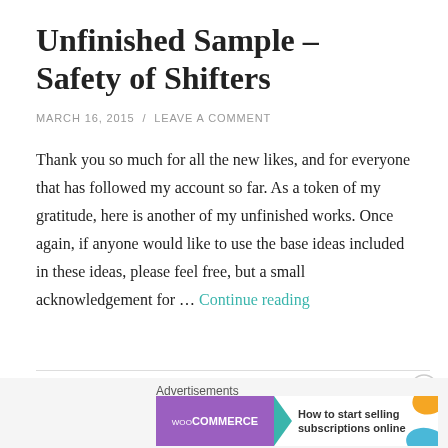Unfinished Sample – Safety of Shifters
MARCH 16, 2015 / LEAVE A COMMENT
Thank you so much for all the new likes, and for everyone that has followed my account so far. As a token of my gratitude, here is another of my unfinished works. Once again, if anyone would like to use the base ideas included in these ideas, please feel free, but a small acknowledgement for … Continue reading
[Figure (infographic): WooCommerce advertisement banner: purple WooCommerce logo with teal arrow, text 'How to start selling subscriptions online', orange and blue decorative blobs]